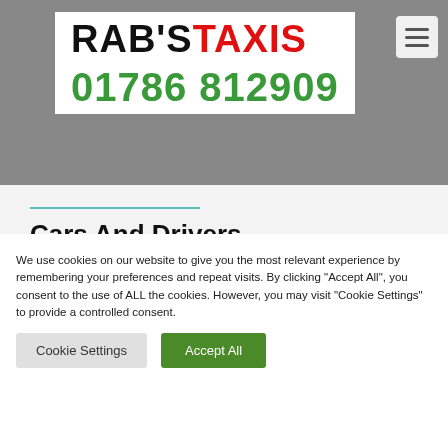RAB'S TAXIS 01786 812909
Cars And Drivers
We have 4, 6, 7 and 8 seater taxis available with wheelchair accessible
We use cookies on our website to give you the most relevant experience by remembering your preferences and repeat visits. By clicking "Accept All", you consent to the use of ALL the cookies. However, you may visit "Cookie Settings" to provide a controlled consent.